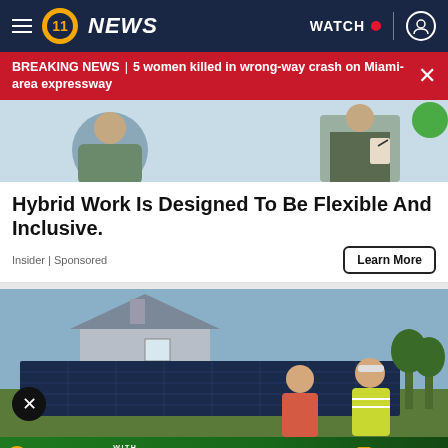11 NEWS | WATCH
BREAKING NEWS | 5 women killed in wrong-way crash on Miami-area expressway
[Figure (photo): Hybrid work themed photo: person at desk and worker with clipboard]
Hybrid Work Is Designed To Be Flexible And Inclusive.
Insider | Sponsored
[Figure (photo): Two people standing in front of solar panels outside a house]
[Figure (infographic): Bottom banner ad: 11 Cares Pack the Bus event, with Education Partnership, 84 Lumber, Clearview, DLC, Highmark. SAT., AUG. 27]